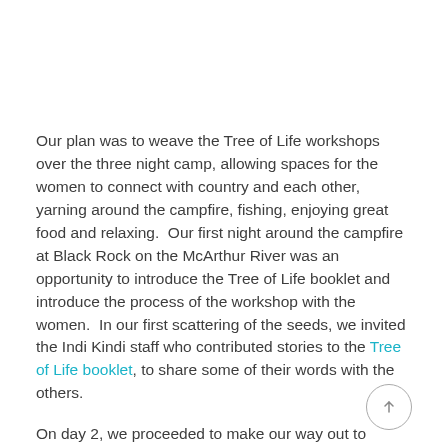Our plan was to weave the Tree of Life workshops over the three night camp, allowing spaces for the women to connect with country and each other, yarning around the campfire, fishing, enjoying great food and relaxing.  Our first night around the campfire at Black Rock on the McArthur River was an opportunity to introduce the Tree of Life booklet and introduce the process of the workshop with the women.  In our first scattering of the seeds, we invited the Indi Kindi staff who contributed stories to the Tree of Life booklet, to share some of their words with the others.
On day 2, we proceeded to make our way out to Centre Island, past crocodiles sunning themselves